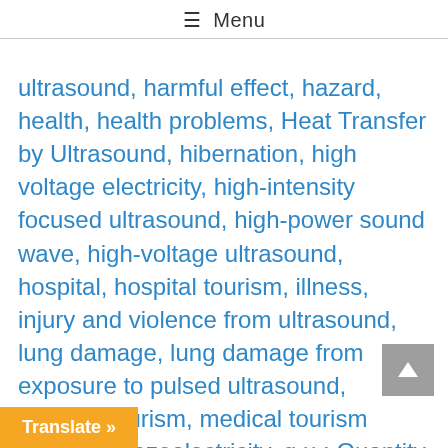≡ Menu
ultrasound, harmful effect, hazard, health, health problems, Heat Transfer by Ultrasound, hibernation, high voltage electricity, high-intensity focused ultrasound, high-power sound wave, high-voltage ultrasound, hospital, hospital tourism, illness, injury and violence from ultrasound, lung damage, lung damage from exposure to pulsed ultrasound, medical tourism, medical tourism hospital, piezoelectricity, q u : Quantity of heat by ultrasound heat effect, W, real secret of life, refrigeration by ultrasound, SARS-CoV-2, synthetic ice, ultrasonic air-conditioning,